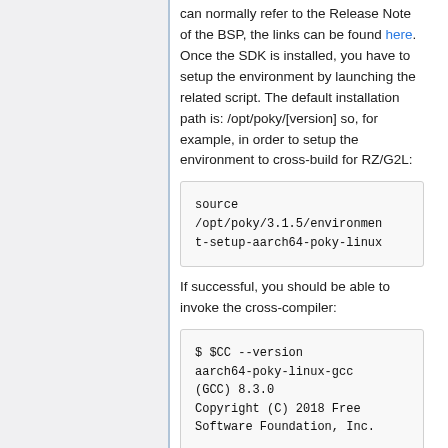can normally refer to the Release Note of the BSP, the links can be found here. Once the SDK is installed, you have to setup the environment by launching the related script. The default installation path is: /opt/poky/[version] so, for example, in order to setup the environment to cross-build for RZ/G2L:
source /opt/poky/3.1.5/environment-setup-aarch64-poky-linux
If successful, you should be able to invoke the cross-compiler:
$ $CC --version aarch64-poky-linux-gcc (GCC) 8.3.0 Copyright (C) 2018 Free Software Foundation, Inc.